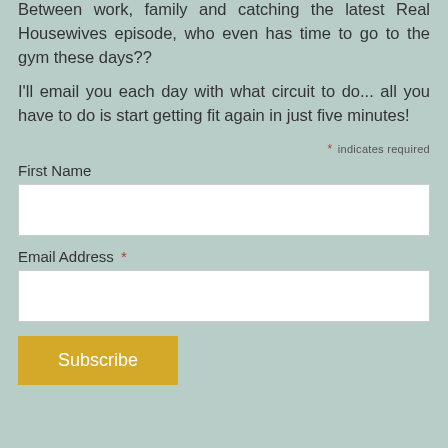Between work, family and catching the latest Real Housewives episode, who even has time to go to the gym these days??
I'll email you each day with what circuit to do... all you have to do is start getting fit again in just five minutes!
* indicates required
First Name
Email Address *
Subscribe